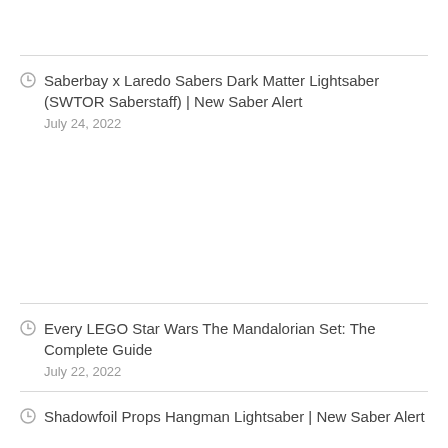Saberbay x Laredo Sabers Dark Matter Lightsaber (SWTOR Saberstaff) | New Saber Alert
July 24, 2022
Every LEGO Star Wars The Mandalorian Set: The Complete Guide
July 22, 2022
Shadowfoil Props Hangman Lightsaber | New Saber Alert